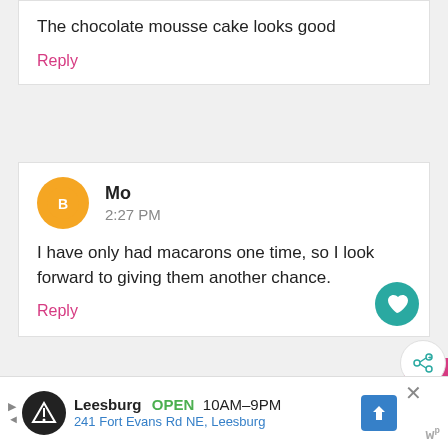The chocolate mousse cake looks good
Reply
Mo
2:27 PM
I have only had macarons one time, so I look forward to giving them another chance.
Reply
EMSFS
11:24 PM
Chocolate mousse cake-- yummy !!!
Reply
WHAT'S NEXT → Eat French Desserts at...
Leesburg OPEN 10AM–9PM 241 Fort Evans Rd NE, Leesburg